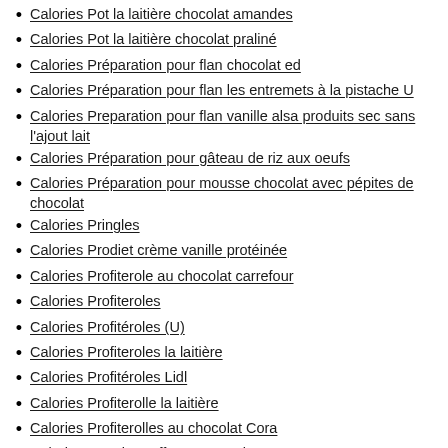Calories Pot la laitière chocolat amandes
Calories Pot la laitière chocolat praliné
Calories Préparation pour flan chocolat ed
Calories Préparation pour flan les entremets à la pistache U
Calories Preparation pour flan vanille alsa produits sec sans l'ajout lait
Calories Préparation pour gâteau de riz aux oeufs
Calories Préparation pour mousse chocolat avec pépites de chocolat
Calories Pringles
Calories Prodiet crème vanille protéinée
Calories Profiterole au chocolat carrefour
Calories Profiteroles
Calories Profitéroles (U)
Calories Profiteroles la laitière
Calories Profitéroles Lidl
Calories Profiterolle la laitière
Calories Profiterolles au chocolat Cora
Calories Protein Waffers Myprotein
Calories Pudding chocolat en poudre Impérial
Calories Pudding vanille la laitière
Calories Purée de pêche sans sucre ajouté super u
Calories Purée de pomme sans sucres ajoutés